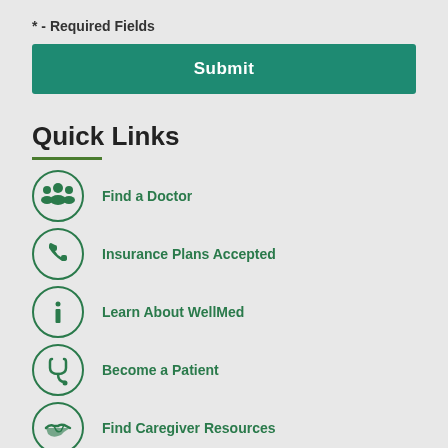* - Required Fields
Submit
Quick Links
Find a Doctor
Insurance Plans Accepted
Learn About WellMed
Become a Patient
Find Caregiver Resources